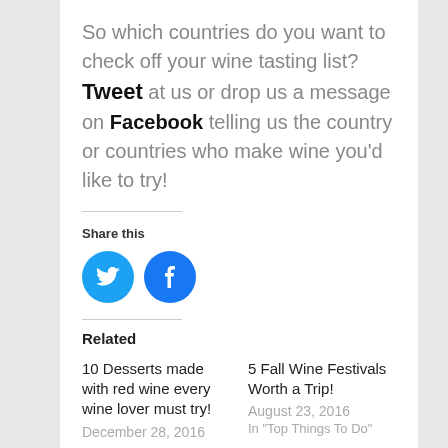So which countries do you want to check off your wine tasting list? Tweet at us or drop us a message on Facebook telling us the country or countries who make wine you’d like to try!
Share this
[Figure (illustration): Twitter bird icon (blue circle) and Facebook f icon (blue circle) social sharing buttons]
Related
10 Desserts made with red wine every wine lover must try!
December 28, 2016
5 Fall Wine Festivals Worth a Trip!
August 23, 2016
In "Top Things To Do"